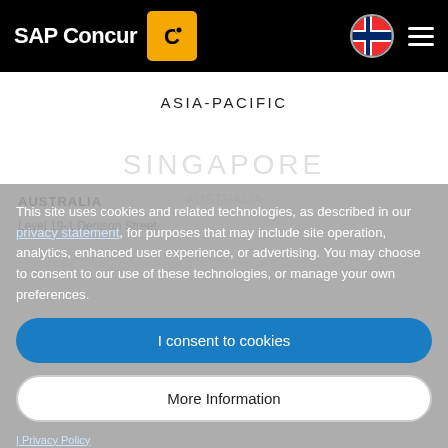SAP Concur
ASIA-PACIFIC
AUSTRALIA
This site uses cookies and related technologies, as described in our privacy statement, for purposes that may include site operation, analytics, enhanced user experience, or advertising. You may choose to consent to our use of these technologies, or manage your own preferences.
I consent to cookies
More Information
| Privacy Policy
www.concur.com.au | Contact us